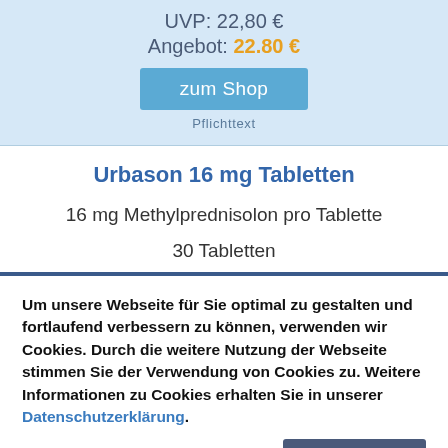UVP: 22,80 €
Angebot: 22.80 €
zum Shop
Pflichttext
Urbason 16 mg Tabletten
16 mg Methylprednisolon pro Tablette
30 Tabletten
Um unsere Webseite für Sie optimal zu gestalten und fortlaufend verbessern zu können, verwenden wir Cookies. Durch die weitere Nutzung der Webseite stimmen Sie der Verwendung von Cookies zu. Weitere Informationen zu Cookies erhalten Sie in unserer Datenschutzerklärung.
Zustimmen